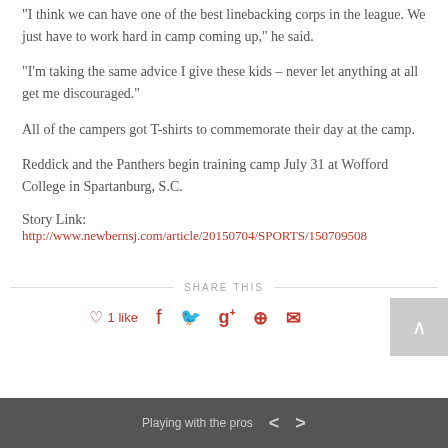“I think we can have one of the best linebacking corps in the league. We just have to work hard in camp coming up,” he said.
“I’m taking the same advice I give these kids – never let anything at all get me discouraged.”
All of the campers got T-shirts to commemorate their day at the camp.
Reddick and the Panthers begin training camp July 31 at Wofford College in Spartanburg, S.C.
Story Link:
http://www.newbernsj.com/article/20150704/SPORTS/150709508
Playing with the pros